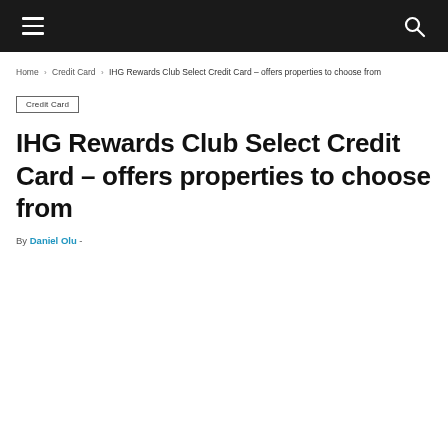[Navigation bar with hamburger menu and search icon]
Home › Credit Card › IHG Rewards Club Select Credit Card – offers properties to choose from
Credit Card
IHG Rewards Club Select Credit Card – offers properties to choose from
By Daniel Olu -